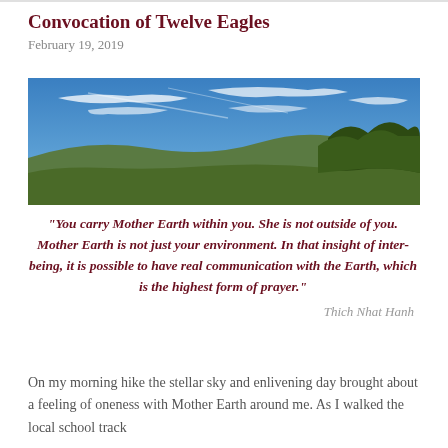Convocation of Twelve Eagles
February 19, 2019
[Figure (photo): Wide panoramic landscape photo showing a rolling green hillside with trees in the foreground-right and a broad blue sky with wispy white clouds above.]
“You carry Mother Earth within you. She is not outside of you. Mother Earth is not just your environment. In that insight of inter-being, it is possible to have real communication with the Earth, which is the highest form of prayer.”
Thich Nhat Hanh
On my morning hike the stellar sky and enlivening day brought about a feeling of oneness with Mother Earth around me. As I walked the local school track